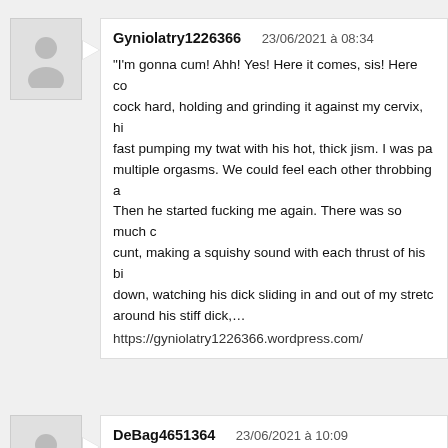Gyniolatry1226366   23/06/2021 à 08:34
"I'm gonna cum! Ahh! Yes! Here it comes, sis! Here co... cock hard, holding and grinding it against my cervix, hi... fast pumping my twat with his hot, thick jism. I was pa... multiple orgasms. We could feel each other throbbing a... Then he started fucking me again. There was so much c... cunt, making a squishy sound with each thrust of his bi... down, watching his dick sliding in and out of my stretc... around his stiff dick,…
https://gyniolatry1226366.wordpress.com/
DeBag4651364   23/06/2021 à 10:09
He flashed Harry and Ginny a mischievous Weasley sm... the chocolate off Hermione's areola. Harry and Ginny c... chocolate on their side of Hermione, each taking turns s... mouths to remove all remaining traces of the sweet. Gi... her teeth, and Hermione squeaked in return, as Harry so... against the headboard of the bed.Ginny repositioned h...